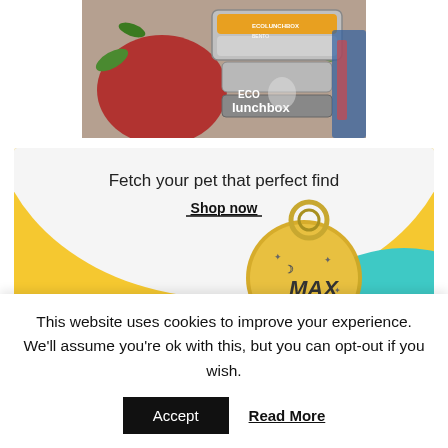[Figure (photo): Eco lunchbox product photo showing stainless steel bento boxes with ECO lunchbox logo, red bag and leaves in background]
[Figure (photo): Advertisement banner with yellow, white, and teal background showing a gold pet tag engraved with MAX and moon/star designs on a keyring. Text: Fetch your pet that perfect find. Shop now.]
This website uses cookies to improve your experience. We'll assume you're ok with this, but you can opt-out if you wish.
Accept
Read More